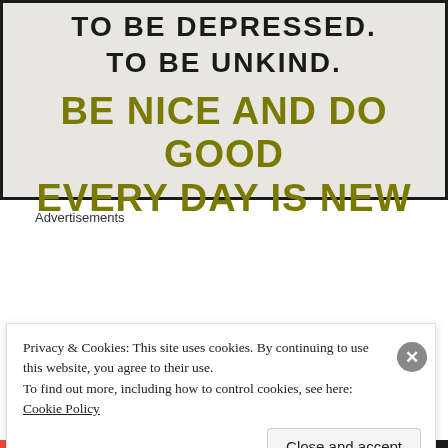[Figure (illustration): Motivational poster on textured light gray background with dark border. Text reads 'TO BE DEPRESSED. TO BE UNKIND.' in black bold uppercase, followed by 'BE NICE AND DO GOOD EVERY DAY IS NEW' in large olive/gold bold uppercase letters.]
Advertisements
[Figure (illustration): Jetpack advertisement banner with green background, white circle/dot pattern, Jetpack logo (lightning bolt in circle) and brand name, with italic tagline text at bottom.]
Privacy & Cookies: This site uses cookies. By continuing to use this website, you agree to their use.
To find out more, including how to control cookies, see here: Cookie Policy
Close and accept